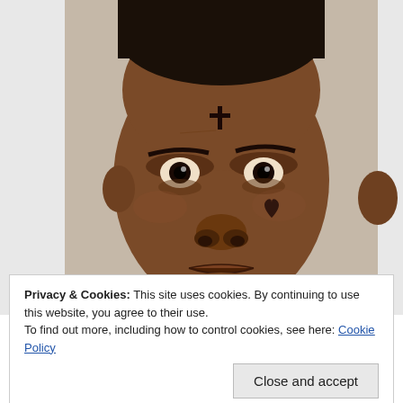[Figure (photo): Mugshot of a person wearing an orange prison jumpsuit, with facial tattoos including a cross on the forehead and a heart on the cheek, looking directly at the camera.]
Privacy & Cookies: This site uses cookies. By continuing to use this website, you agree to their use.
To find out more, including how to control cookies, see here: Cookie Policy
Close and accept